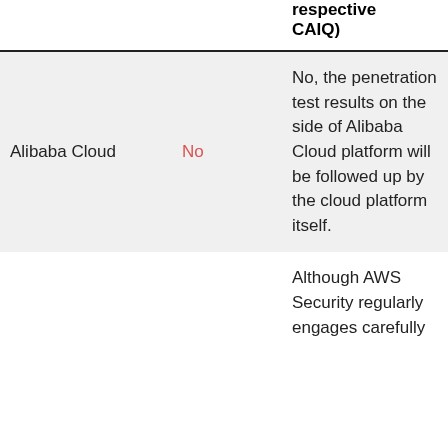|  |  | respective CAIQ) |
| --- | --- | --- |
| Alibaba Cloud | No | No, the penetration test results on the side of Alibaba Cloud platform will be followed up by the cloud platform itself. |
|  |  | Although AWS Security regularly engages carefully |